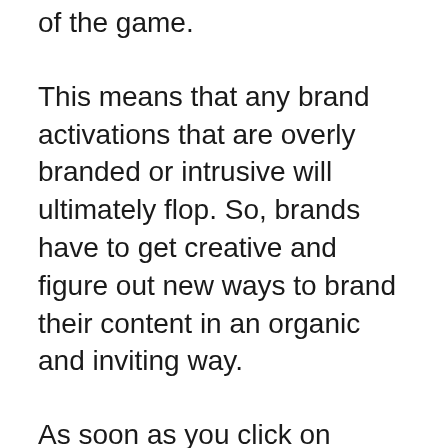of the game.
This means that any brand activations that are overly branded or intrusive will ultimately flop. So, brands have to get creative and figure out new ways to brand their content in an organic and inviting way.
As soon as you click on f'real's TikTok profile, you are welcomed by bright popping colors and this is a theme throughout all of their content.
And remember: consistency is key!